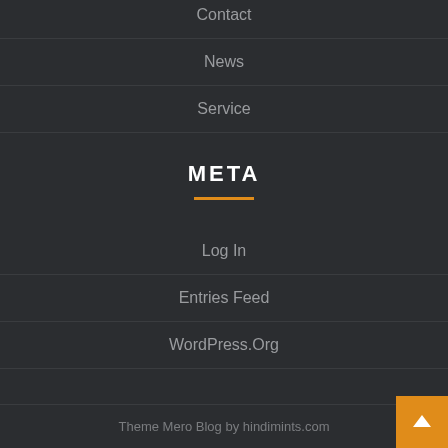Contact
News
Service
META
Log In
Entries Feed
WordPress.Org
Theme Mero Blog by hindimints.com